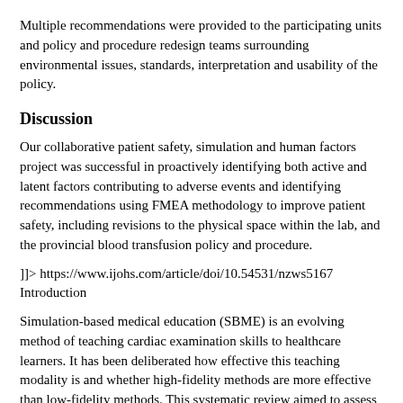Multiple recommendations were provided to the participating units and policy and procedure redesign teams surrounding environmental issues, standards, interpretation and usability of the policy.
Discussion
Our collaborative patient safety, simulation and human factors project was successful in proactively identifying both active and latent factors contributing to adverse events and identifying recommendations using FMEA methodology to improve patient safety, including revisions to the physical space within the lab, and the provincial blood transfusion policy and procedure.
]]> https://www.ijohs.com/article/doi/10.54531/nzws5167 Introduction
Simulation-based medical education (SBME) is an evolving method of teaching cardiac examination skills to healthcare learners. It has been deliberated how effective this teaching modality is and whether high-fidelity methods are more effective than low-fidelity methods. This systematic review aimed to assess the effectiveness of high-fidelity SBME in teaching cardiac auscultation compared with no intervention or another active